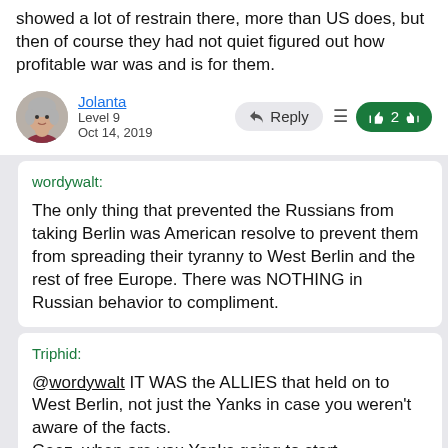showed a lot of restrain there, more than US does, but then of course they had not quiet figured out how profitable war was and is for them.
Jolanta
Level 9
Oct 14, 2019
wordywalt:
The only thing that prevented the Russians from taking Berlin was American resolve to prevent them from spreading their tyranny to West Berlin and the rest of free Europe. There was NOTHING in Russian behavior to compliment.
Triphid:
@wordywalt IT WAS the ALLIES that held on to West Berlin, not just the Yanks in case you weren't aware of the facts.
Geez, when are you Yanks going to start